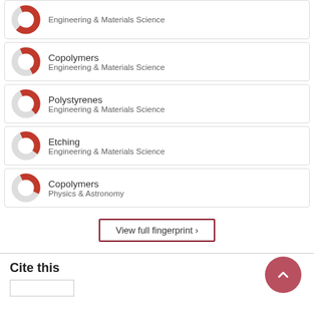Engineering & Materials Science (partial, top clipped)
Copolymers — Engineering & Materials Science
Polystyrenes — Engineering & Materials Science
Etching — Engineering & Materials Science
Copolymers — Physics & Astronomy
View full fingerprint >
Cite this